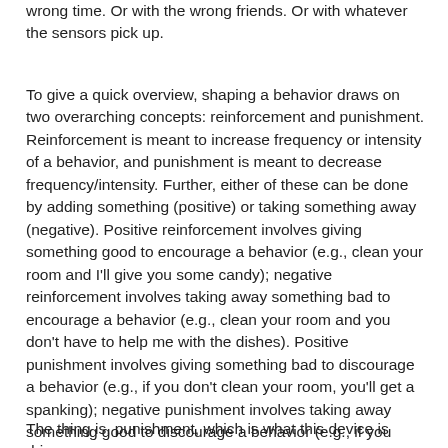wrong time. Or with the wrong friends. Or with whatever the sensors pick up.
To give a quick overview, shaping a behavior draws on two overarching concepts: reinforcement and punishment. Reinforcement is meant to increase frequency or intensity of a behavior, and punishment is meant to decrease frequency/intensity. Further, either of these can be done by adding something (positive) or taking something away (negative). Positive reinforcement involves giving something good to encourage a behavior (e.g., clean your room and I'll give you some candy); negative reinforcement involves taking away something bad to encourage a behavior (e.g., clean your room and you don't have to help me with the dishes). Positive punishment involves giving something bad to discourage a behavior (e.g., if you don't clean your room, you'll get a spanking); negative punishment involves taking away something good to discourage a behavior (e.g., if you don't clean your room, you can't go to the party). Each of these approaches has a time and place.
The thing is, punishment, which is what this device is driven